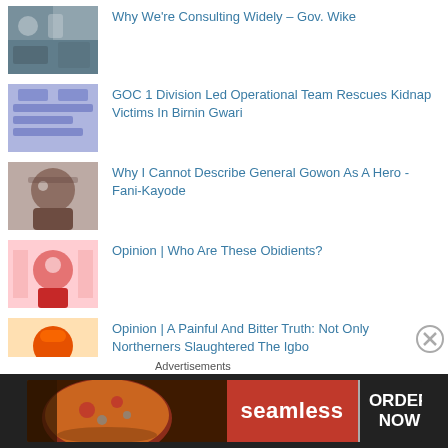Why We're Consulting Widely – Gov. Wike
GOC 1 Division Led Operational Team Rescues Kidnap Victims In Birnin Gwari
Why I Cannot Describe General Gowon As A Hero - Fani-Kayode
Opinion | Who Are These Obidients?
Opinion | A Painful And Bitter Truth: Not Only Northerners Slaughtered The Igbo
Ukraine Faces Painful Aftermath Of Ongoing Six Months War
Nigeria Records 62.37% Increase In Export Of Non-Oil Products
[Figure (screenshot): Seamless food ordering advertisement banner with pizza image, seamless logo and ORDER NOW button]
Advertisements